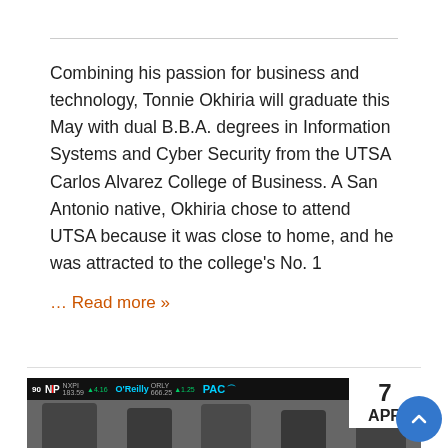Combining his passion for business and technology, Tonnie Okhiria will graduate this May with dual B.B.A. degrees in Information Systems and Cyber Security from the UTSA Carlos Alvarez College of Business. A San Antonio native, Okhiria chose to attend UTSA because it was close to home, and he was attracted to the college's No. 1
… Read more »
[Figure (photo): Group photo of students standing in front of a stock ticker display showing NXPI 183.59 +4.16, ORLY 666.25 +1.25, PAC... with a date overlay showing 7 APR]